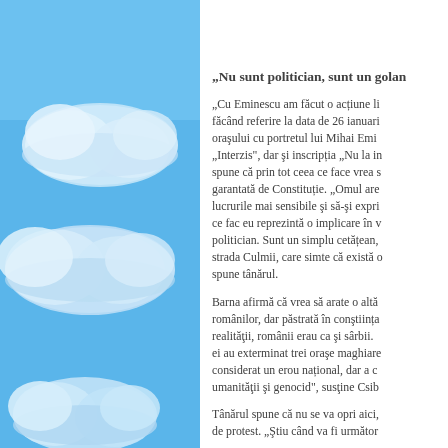[Figure (illustration): Blue sky background with white clouds illustrated on the left panel of the page]
„Nu sunt politician, sunt un golan
„Cu Eminescu am făcut o acțiune li
făcând referire la data de 26 ianuari
oraşului cu portretul lui Mihai Emi
„Interzis", dar şi inscripția „Nu la in
spune că prin tot ceea ce face vrea s
garantată de Constituție. „Omul are
lucrurile mai sensibile şi să-şi expri
ce fac eu reprezintă o implicare în v
politician. Sunt un simplu cetățean,
strada Culmii, care simte că există o
spune tânărul.
Barna afirmă că vrea să arate o altă
românilor, dar păstrată în conştiința
realităţii, românii erau ca şi sârbii.
ei au exterminat trei oraşe maghiare
considerat un erou național, dar a c
umanităţii şi genocid", susţine Csib
Tânărul spune că nu se va opri aici,
de protest. „Ştiu când va fi următor